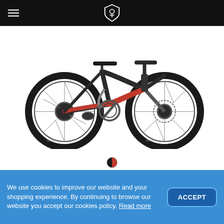Navigation header with hamburger menu and shield logo
[Figure (photo): Mountain bike (F-Podium Carbon DC) with carbon fiber frame and red accents, shown in profile view on white background]
[Figure (other): Color swatch circle showing black and red colorway]
F-PODIUM CARBON DC
CROSS COUNTRY
We use cookies to improve our website and your shopping experience. By continuing to browse our website you accept our cookies policy. Read more
F-PODIUM